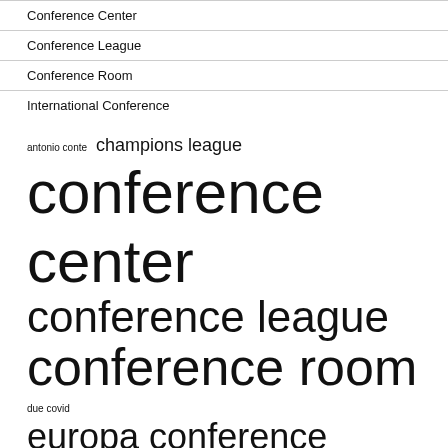Conference Center
Conference League
Conference Room
International Conference
antonio conte  champions league  conference center  conference league  conference room  due covid  europa conference  europa league  head coach  high school  international conference  premier league  press conference